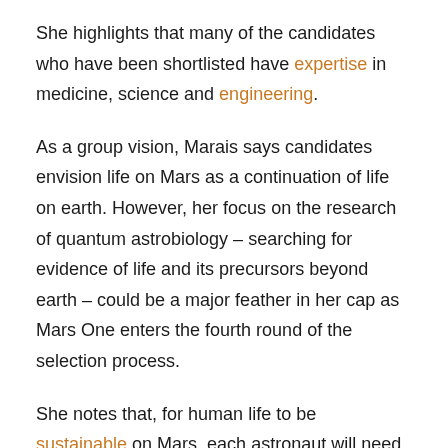She highlights that many of the candidates who have been shortlisted have expertise in medicine, science and engineering.
As a group vision, Marais says candidates envision life on Mars as a continuation of life on earth. However, her focus on the research of quantum astrobiology – searching for evidence of life and its precursors beyond earth – could be a major feather in her cap as Mars One enters the fourth round of the selection process.
She notes that, for human life to be sustainable on Mars, each astronaut will need to be highly skilled in the fields of engineering, biology, electronics, mechanics and aeronautics, as "being able to maintain,